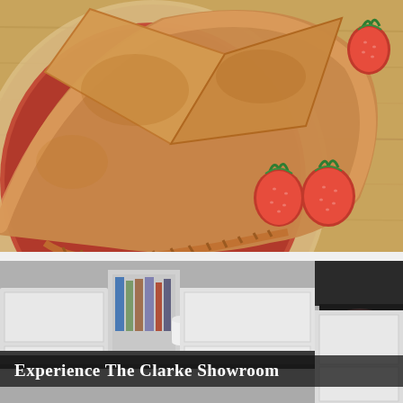[Figure (photo): Close-up overhead view of a freshly baked strawberry pie in a glass pie dish, with golden-brown crimped crust. The top crust is partially open revealing red strawberry filling. Two whole strawberries rest on a wooden cutting board beside the pie, and another strawberry is visible in the upper right corner.]
[Figure (photo): Interior view of the Clarke Showroom featuring a modern kitchen with white cabinetry, open shelving with books, a dark countertop, and a dark bowl with items on the counter. A text overlay at the bottom reads 'Experience The Clarke Showroom'.]
Experience The Clarke Showroom